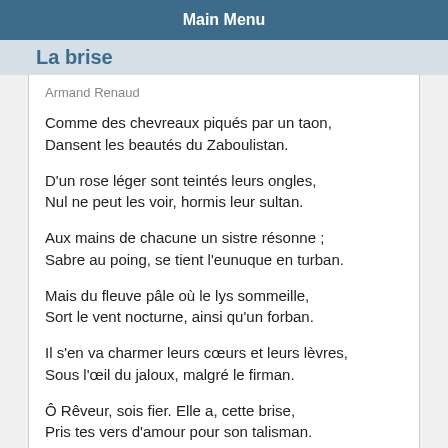Main Menu
La brise
Armand Renaud
Comme des chevreaux piqués par un taon,
Dansent les beautés du Zaboulistan.
D'un rose léger sont teintés leurs ongles,
Nul ne peut les voir, hormis leur sultan.
Aux mains de chacune un sistre résonne ;
Sabre au poing, se tient l'eunuque en turban.
Mais du fleuve pâle où le lys sommeille,
Sort le vent nocturne, ainsi qu'un forban.
Il s'en va charmer leurs cœurs et leurs lèvres,
Sous l'œil du jaloux, malgré le firman.
Ô Rêveur, sois fier. Elle a, cette brise,
Pris tes vers d'amour pour son talisman.